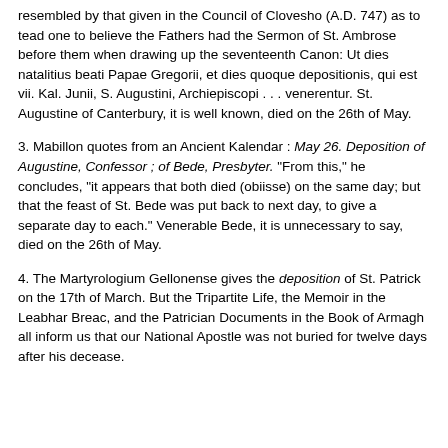resembled by that given in the Council of Clovesho (A.D. 747) as to tead one to believe the Fathers had the Sermon of St. Ambrose before them when drawing up the seventeenth Canon: Ut dies natalitius beati Papae Gregorii, et dies quoque depositionis, qui est vii. Kal. Junii, S. Augustini, Archiepiscopi . . . venerentur. St. Augustine of Canterbury, it is well known, died on the 26th of May.
3. Mabillon quotes from an Ancient Kalendar : May 26. Deposition of Augustine, Confessor ; of Bede, Presbyter. "From this," he concludes, "it appears that both died (obiisse) on the same day; but that the feast of St. Bede was put back to next day, to give a separate day to each." Venerable Bede, it is unnecessary to say, died on the 26th of May.
4. The Martyrologium Gellonense gives the deposition of St. Patrick on the 17th of March. But the Tripartite Life, the Memoir in the Leabhar Breac, and the Patrician Documents in the Book of Armagh all inform us that our National Apostle was not buried for twelve days after his decease.